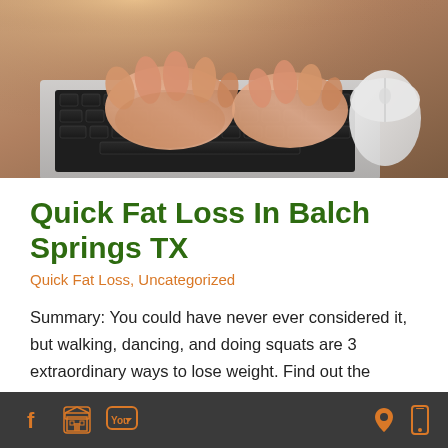[Figure (photo): Close-up photo of hands typing on a laptop keyboard with a white wireless mouse to the right, warm-toned background.]
Quick Fat Loss In Balch Springs TX
Quick Fat Loss, Uncategorized
Summary: You could have never ever considered it, but walking, dancing, and doing squats are 3 extraordinary ways to lose weight. Find out the
Social media icons (Facebook, store, YouTube) on left; location pin and mobile icons on right